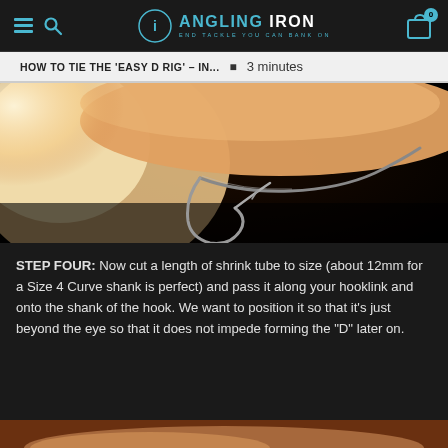Angling Iron — End Tackle You Can Bank On
HOW TO TIE THE 'EASY D RIG' – IN... • 3 minutes
[Figure (photo): Close-up macro photograph of fingers holding a fishing hook, showing the curved point and bend of the hook in detail against a dark background.]
STEP FOUR: Now cut a length of shrink tube to size (about 12mm for a Size 4 Curve shank is perfect) and pass it along your hooklink and onto the shank of the hook. We want to position it so that it's just beyond the eye so that it does not impede forming the "D" later on.
[Figure (photo): Partial view of the bottom of the next step image, showing fingers/skin tones at the bottom of the page.]